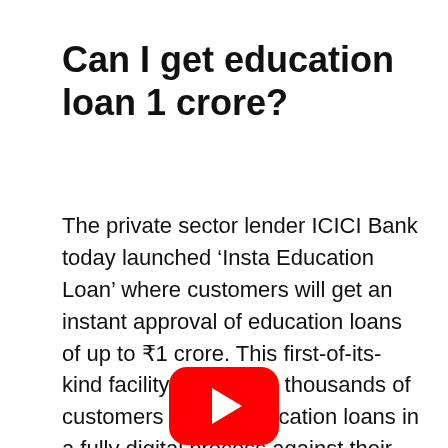Can I get education loan 1 crore?
The private sector lender ICICI Bank today launched ‘Insta Education Loan’ where customers will get an instant approval of education loans of up to ₹1 crore. This first-of-its-kind facility will enable thousands of customers to take education loans in a fully digital process against their fixed deposits with the bank.
[Figure (other): YouTube play button icon (red rounded rectangle with white play triangle)]